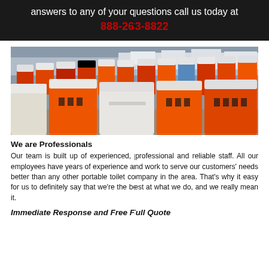answers to any of your questions call us today at 888-263-8822
[Figure (photo): Large outdoor lot filled with many portable toilets in orange/red and white colors, packed closely together, with white structures/tents visible in the background under an overcast sky.]
We are Professionals
Our team is built up of experienced, professional and reliable staff. All our employees have years of experience and work to serve our customers' needs better than any other portable toilet company in the area. That's why it easy for us to definitely say that we're the best at what we do, and we really mean it.
Immediate Response and Free Full Quote